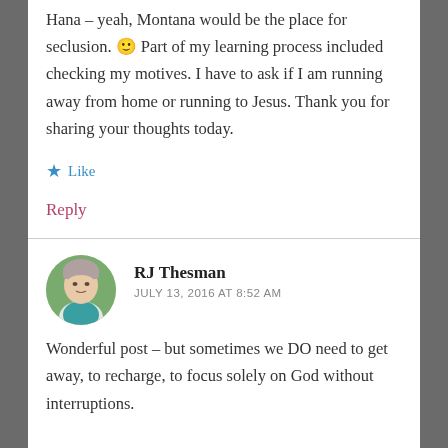Hana – yeah, Montana would be the place for seclusion. 🙂 Part of my learning process included checking my motives. I have to ask if I am running away from home or running to Jesus. Thank you for sharing your thoughts today.
★ Like
Reply
RJ Thesman
JULY 13, 2016 AT 8:52 AM
Wonderful post – but sometimes we DO need to get away, to recharge, to focus solely on God without interruptions.